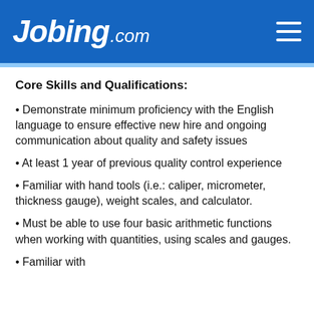Jobing.com
Core Skills and Qualifications:
• Demonstrate minimum proficiency with the English language to ensure effective new hire and ongoing communication about quality and safety issues
• At least 1 year of previous quality control experience
• Familiar with hand tools (i.e.: caliper, micrometer, thickness gauge), weight scales, and calculator.
• Must be able to use four basic arithmetic functions when working with quantities, using scales and gauges.
• Familiar with...